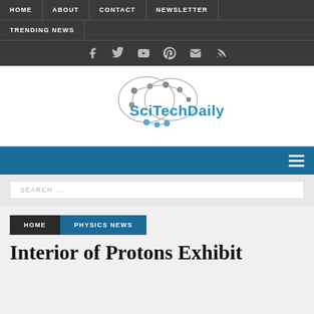HOME | ABOUT | CONTACT | NEWSLETTER | TRENDING NEWS
[Figure (logo): SciTechDaily logo with brain circuit graphic and blue text]
Navigation menu bar with hamburger icon
SEARCH ...
HOME  PHYSICS NEWS
Interior of Protons Exhibit